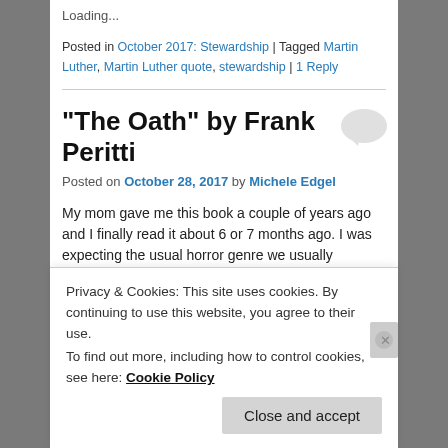Loading...
Posted in October 2017: Stewardship | Tagged Martin Luther, Martin Luther quote, stewardship | 1 Reply
“The Oath” by Frank Peritti
Posted on October 28, 2017 by Michele Edgel
My mom gave me this book a couple of years ago and I finally read it about 6 or 7 months ago. I was expecting the usual horror genre we usually exchange, but was in
Privacy & Cookies: This site uses cookies. By continuing to use this website, you agree to their use.
To find out more, including how to control cookies, see here: Cookie Policy